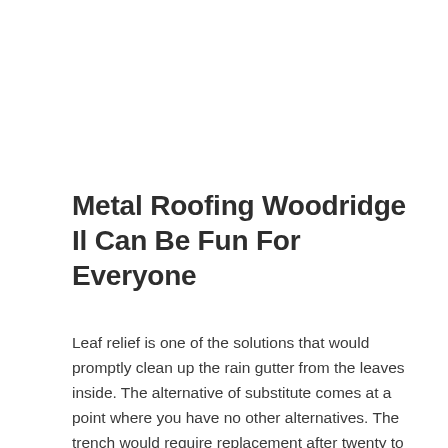Metal Roofing Woodridge Il Can Be Fun For Everyone
Leaf relief is one of the solutions that would promptly clean up the rain gutter from the leaves inside. The alternative of substitute comes at a point where you have no other alternatives. The trench would require replacement after twenty to forty years of solution. Some business sometime fool house owners even the